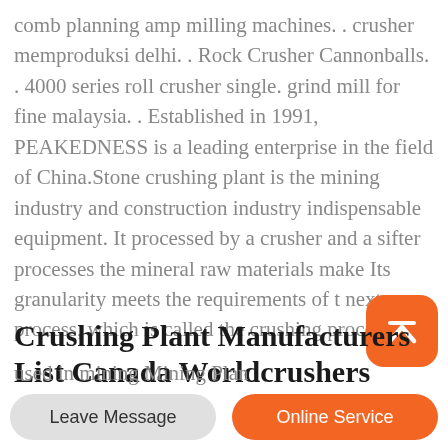comb planning amp milling machines. . crusher memproduksi delhi. . Rock Crusher Cannonballs. . 4000 series roll crusher single. grind mill for fine malaysia. . Established in 1991, PEAKEDNESS is a leading enterprise in the field of China.Stone crushing plant is the mining industry and construction industry indispensable equipment. It processed by a crusher and a sifter processes the mineral raw materials make Its granularity meets the requirements of the next process, which is called the crushing process.
Crushing Plant Manufacturers List Canada Worldcrushers
Crushing Plant 02388 2004 Price List, gold mining
used in mining Mining Plan